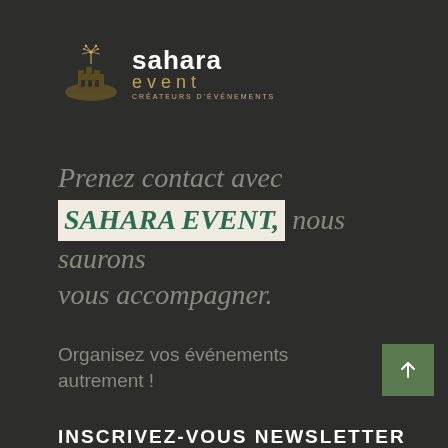[Figure (logo): Sahara Event logo with stylized desert/fireworks icon, text 'sahara event' and tagline 'Créateurs d'événements']
Prenez contact avec SAHARA EVENT, nous saurons vous accompagner.
Organisez vos événements autrement !
INSCRIVEZ-VOUS NEWSLETTER